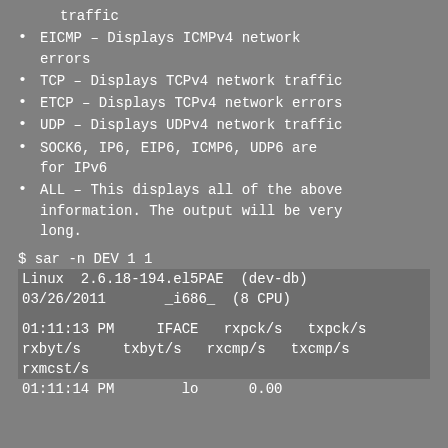traffic
EICMP – Displays ICMPv4 network errors
TCP – Displays TCPv4 network traffic
ETCP – Displays TCPv4 network errors
UDP – Displays UDPv4 network traffic
SOCK6, IP6, EIP6, ICMP6, UDP6 are for IPv6
ALL – This displays all of the above information. The output will be very long.
$ sar -n DEV 1 1
Linux  2.6.18-194.el5PAE  (dev-db)
03/26/2011       _i686_  (8 CPU)
01:11:13 PM     IFACE   rxpck/s   txpck/s
rxbyt/s     txbyt/s   rxcmp/s   txcmp/s
rxmcst/s
01:11:14 PM        lo      0.00